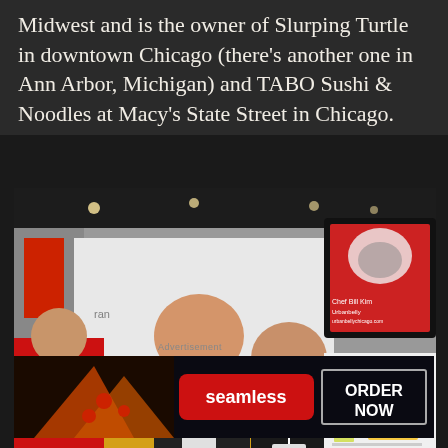Midwest and is the owner of Slurping Turtle in downtown Chicago (there's another one in Ann Arbor, Michigan) and TABO Sushi & Noodles at Macy's State Street in Chicago.
[Figure (photo): Two people (a man and a woman) smiling at a trade show or convention booth. A sign in the background reads 'Chef Bill Kim Urbanbelly urbanbellychicago.com'. The booth has yellow counters and various food displays. Other attendees are visible in the background.]
[Figure (photo): Advertisement banner for Seamless food delivery showing pizza slices on the left, a red Seamless logo button in the center, and an 'ORDER NOW' button on the right against a dark background.]